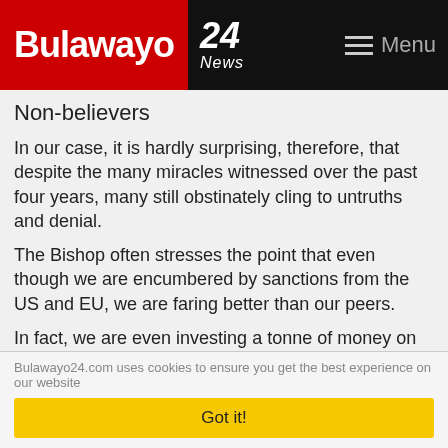Bulawayo 24 News — Menu
Non-believers
In our case, it is hardly surprising, therefore, that despite the many miracles witnessed over the past four years, many still obstinately cling to untruths and denial.
The Bishop often stresses the point that even though we are encumbered by sanctions from the US and EU, we are faring better than our peers.
In fact, we are even investing a tonne of money on an unprecedented infrastructure development programme, which countries that are unencumbered are failing to do.
Bulawayo24.com uses cookies to ensure you get the best experience on our website
Got it!